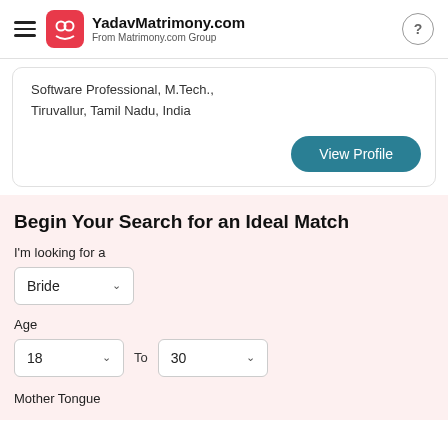YadavMatrimony.com — From Matrimony.com Group
Software Professional, M.Tech., Tiruvallur, Tamil Nadu, India
View Profile
Begin Your Search for an Ideal Match
I'm looking for a
Bride
Age
18  To  30
Mother Tongue